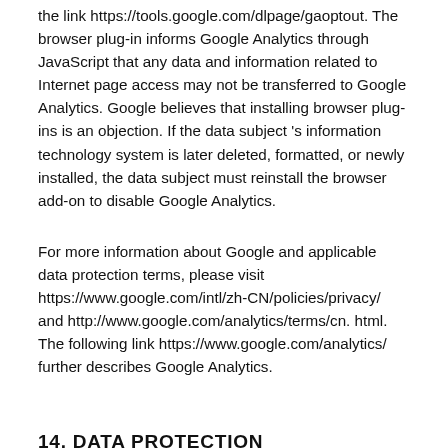the link https://tools.google.com/dlpage/gaoptout. The browser plug-in informs Google Analytics through JavaScript that any data and information related to Internet page access may not be transferred to Google Analytics. Google believes that installing browser plug-ins is an objection. If the data subject 's information technology system is later deleted, formatted, or newly installed, the data subject must reinstall the browser add-on to disable Google Analytics.
For more information about Google and applicable data protection terms, please visit https://www.google.com/intl/zh-CN/policies/privacy/ and http://www.google.com/analytics/terms/cn. html. The following link https://www.google.com/analytics/ further describes Google Analytics.
14. DATA PROTECTION REGULATIONS REGARDING THE APPLICATION AND USE OF GOOGLE REMARKETING
The controller has integrated Google remarketing services on